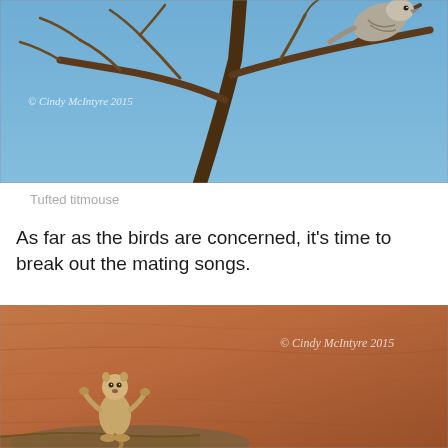[Figure (photo): A tufted titmouse bird perched on bare tree branches against a blue sky. Watermark reads '© Cindy McIntyre 2015'.]
Tufted titmouse
As far as the birds are concerned, it's time to break out the mating songs.
[Figure (photo): A prairie dog or ground squirrel standing upright on a rocky surface against a blurred reddish-brown background. Watermark reads '© Cindy McIntyre 2015'.]